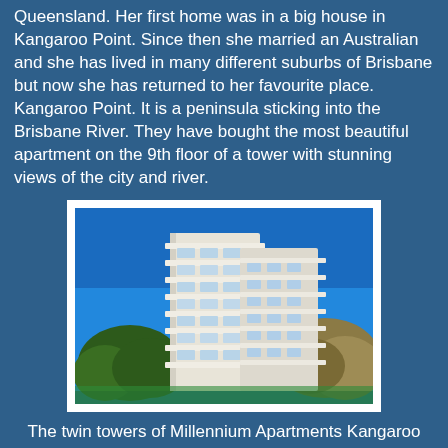Queensland. Her first home was in a big house in Kangaroo Point. Since then she married an Australian and she has lived in many different suburbs of Brisbane but now she has returned to her favourite place. Kangaroo Point. It is a peninsula sticking into the Brisbane River. They have bought the most beautiful apartment on the 9th floor of a tower with stunning views of the city and river.
[Figure (photo): Photo of twin tower apartment building (Millennium Apartments Kangaroo Point) against a blue sky, with trees visible around the building. Multi-storey white building with balconies on each floor.]
The twin towers of Millennium Apartments Kangaroo Point. Each floor is one apartment.
[Figure (photo): Partial photo at the bottom of the page, showing what appears to be a closer view of the apartment building balcony or facade with blue sky.]